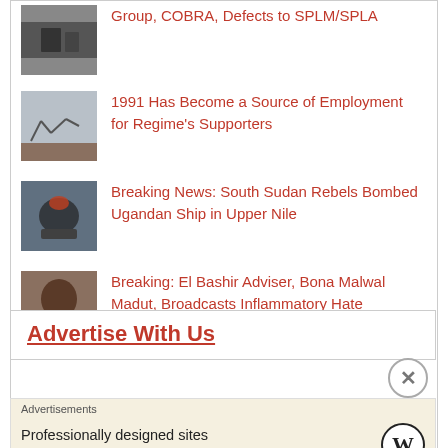Group, COBRA, Defects to SPLM/SPLA
1991 Has Become a Source of Employment for Regime's Supporters
Breaking News: South Sudan Rebels Bombed Ugandan Ship in Upper Nile
Breaking: El Bashir Adviser, Bona Malwal Madut, Broadcasts Inflammatory Hate Speeches Against Non-Dinka Tribes in Kansas, USA!
Advertise With Us
Advertisements
Professionally designed sites in less than a week